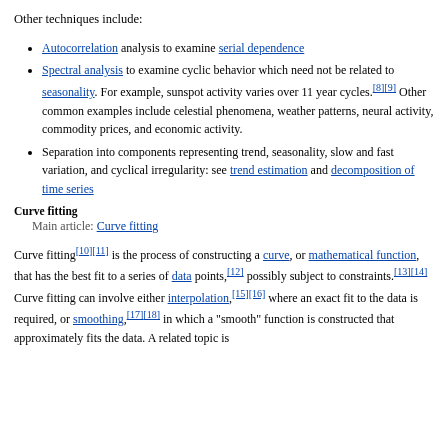Other techniques include:
Autocorrelation analysis to examine serial dependence
Spectral analysis to examine cyclic behavior which need not be related to seasonality. For example, sunspot activity varies over 11 year cycles.[8][9] Other common examples include celestial phenomena, weather patterns, neural activity, commodity prices, and economic activity.
Separation into components representing trend, seasonality, slow and fast variation, and cyclical irregularity: see trend estimation and decomposition of time series
Curve fitting
Main article: Curve fitting
Curve fitting[10][11] is the process of constructing a curve, or mathematical function, that has the best fit to a series of data points,[12] possibly subject to constraints.[13][14] Curve fitting can involve either interpolation,[15][16] where an exact fit to the data is required, or smoothing,[17][18] in which a "smooth" function is constructed that approximately fits the data. A related topic is